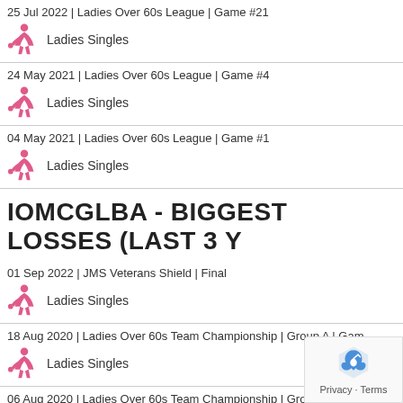25 Jul 2022 | Ladies Over 60s League | Game #21 — Ladies Singles
24 May 2021 | Ladies Over 60s League | Game #4 — Ladies Singles
04 May 2021 | Ladies Over 60s League | Game #1 — Ladies Singles
IOMCGLBA - BIGGEST LOSSES (LAST 3 Y
01 Sep 2022 | JMS Veterans Shield | Final — Ladies Singles
18 Aug 2020 | Ladies Over 60s Team Championship | Group A | Gam — Ladies Singles
06 Aug 2020 | Ladies Over 60s Team Championship | Group A | G — Ladies Singles